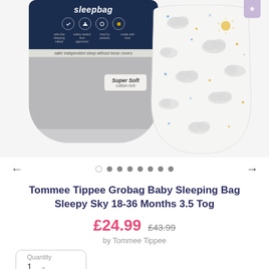[Figure (photo): Product photo showing Tommee Tippee Grobag Baby Sleeping Bag. Left: product packaging with dark navy header and brand name 'sleepbag', safety icons, and label reading 'Super Soft cotton-rich'. Text 'safer independent sleep without loose covers'. Right: the actual sleeping bag in white with cloud, star and sun pattern in grey, blue and yellow.]
Tommee Tippee Grobag Baby Sleeping Bag Sleepy Sky 18-36 Months 3.5 Tog
£24.99  £43.99
by Tommee Tippee
Quantity
1